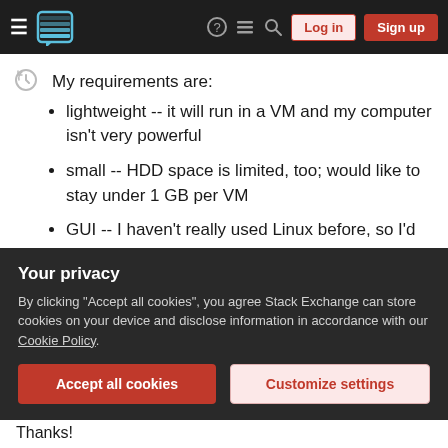Stack Exchange navigation bar with Log in and Sign up buttons
My requirements are:
lightweight -- it will run in a VM and my computer isn't very powerful
small -- HDD space is limited, too; would like to stay under 1 GB per VM
GUI -- I haven't really used Linux before, so I'd be more comfortable having a GUI (even if as an option)
work out of the box -- I know administering a
Your privacy
By clicking "Accept all cookies", you agree Stack Exchange can store cookies on your device and disclose information in accordance with our Cookie Policy.
Accept all cookies | Customize settings
Thanks!